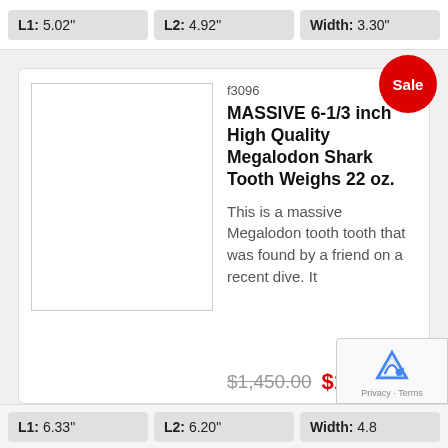| L1 | L2 | Width |
| --- | --- | --- |
| 5.02" | 4.92" | 3.30" |
f3096
MASSIVE 6-1/3 inch High Quality Megalodon Shark Tooth Weighs 22 oz.
This is a massive Megalodon tooth tooth that was found by a friend on a recent dive. It
$1,450.00  $1,250.00
| L1 | L2 | Width |
| --- | --- | --- |
| 6.33" | 6.20" | 4.8 |